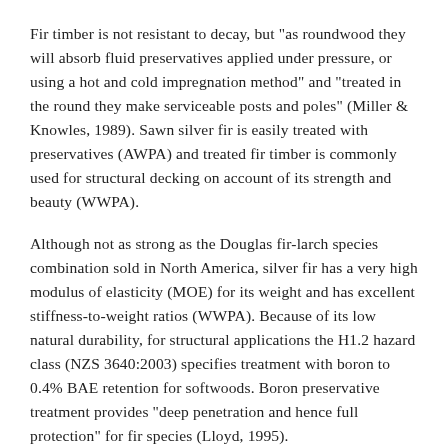Fir timber is not resistant to decay, but "as roundwood they will absorb fluid preservatives applied under pressure, or using a hot and cold impregnation method" and "treated in the round they make serviceable posts and poles" (Miller & Knowles, 1989). Sawn silver fir is easily treated with preservatives (AWPA) and treated fir timber is commonly used for structural decking on account of its strength and beauty (WWPA).
Although not as strong as the Douglas fir-larch species combination sold in North America, silver fir has a very high modulus of elasticity (MOE) for its weight and has excellent stiffness-to-weight ratios (WWPA). Because of its low natural durability, for structural applications the H1.2 hazard class (NZS 3640:2003) specifies treatment with boron to 0.4% BAE retention for softwoods. Boron preservative treatment provides "deep penetration and hence full protection" for fir species (Lloyd, 1995).